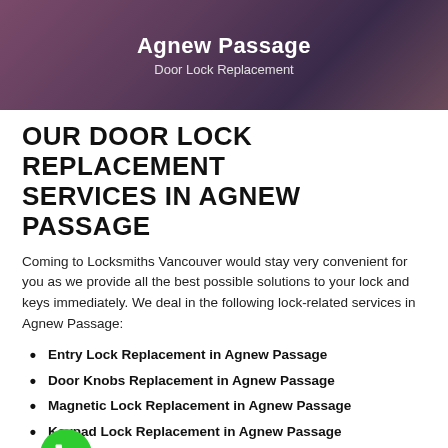[Figure (photo): Hero banner with purple/mauve toned background showing hands, with text overlay 'Agnew Passage' and 'Door Lock Replacement']
OUR DOOR LOCK REPLACEMENT SERVICES IN AGNEW PASSAGE
Coming to Locksmiths Vancouver would stay very convenient for you as we provide all the best possible solutions to your lock and keys immediately. We deal in the following lock-related services in Agnew Passage:
Entry Lock Replacement in Agnew Passage
Door Knobs Replacement in Agnew Passage
Magnetic Lock Replacement in Agnew Passage
Keypad Lock Replacement in Agnew Passage
Rim Lock Replacement in Agnew Passage
Electronic Lock Replacement in Agnew Passage